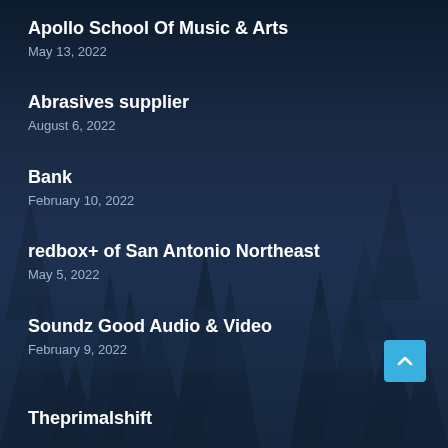Apollo School Of Music & Arts
May 13, 2022
Abrasives supplier
August 6, 2022
Bank
February 10, 2022
redbox+ of San Antonio Northeast
May 5, 2022
Soundz Good Audio & Video
February 9, 2022
Theprimalshift